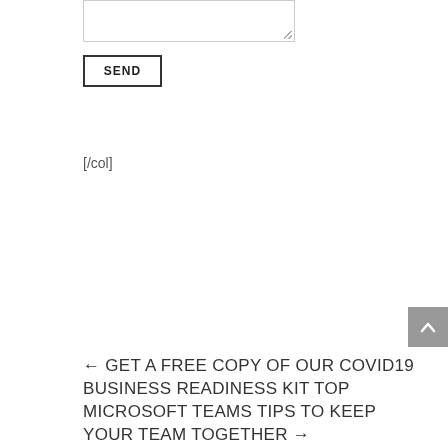[Figure (screenshot): A textarea input box (form element) at the top of the page]
SEND
[/col]
[Figure (other): Gray scroll-to-top button with upward chevron arrow]
← GET A FREE COPY OF OUR COVID19 BUSINESS READINESS KIT TOP MICROSOFT TEAMS TIPS TO KEEP YOUR TEAM TOGETHER →